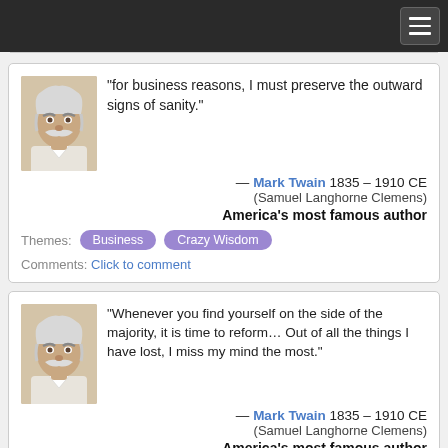[Navigation bar with hamburger menu]
“for business reasons, I must preserve the outward signs of sanity.” — Mark Twain 1835 – 1910 CE (Samuel Langhorne Clemens) America’s most famous author
Themes: Business  Crazy Wisdom
Comments: Click to comment
“Whenever you find yourself on the side of the majority, it is time to reform… Out of all the things I have lost, I miss my mind the most.” — Mark Twain 1835 – 1910 CE (Samuel Langhorne Clemens) America’s most famous author